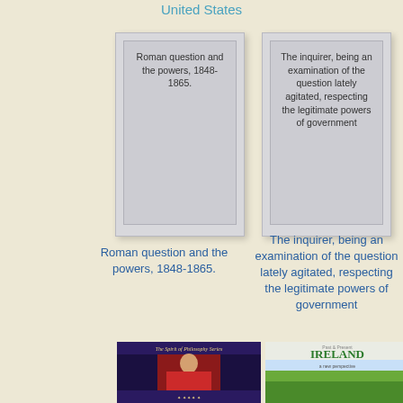United States
[Figure (illustration): Book thumbnail card for 'Roman question and the powers, 1848-1865.' — gray card with title text]
[Figure (illustration): Book thumbnail card for 'The inquirer, being an examination of the question lately agitated, respecting the legitimate powers of government' — gray card with title text]
Roman question and the powers, 1848-1865.
The inquirer, being an examination of the question lately agitated, respecting the legitimate powers of government
[Figure (photo): Book cover: The Spirit of Philosophy Series — showing a man in red robes]
[Figure (photo): Book cover: Past & Present IRELAND — a new perspective, showing green landscape]